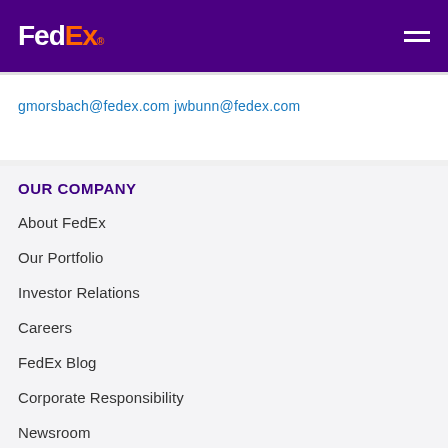FedEx
gmorsbach@fedex.com jwbunn@fedex.com
OUR COMPANY
About FedEx
Our Portfolio
Investor Relations
Careers
FedEx Blog
Corporate Responsibility
Newsroom
Contact Us
MORE FROM FEDEX